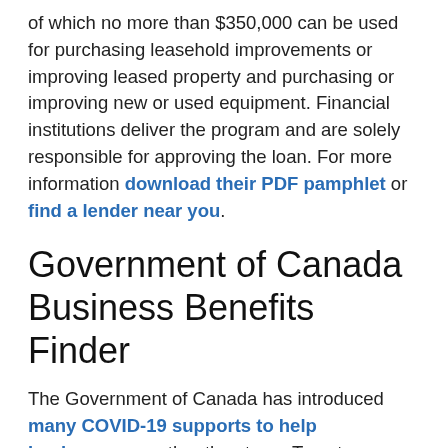of which no more than $350,000 can be used for purchasing leasehold improvements or improving leased property and purchasing or improving new or used equipment. Financial institutions deliver the program and are solely responsible for approving the loan. For more information download their PDF pamphlet or find a lender near you.
Government of Canada Business Benefits Finder
The Government of Canada has introduced many COVID-19 supports to help businesses weather the storm. To get a tailored list of the ones that fit your business situation or to discover other federal, provincial and territorial programs and services designed to help Canadian businesses grow, try the interactive business benefits finder. You can also